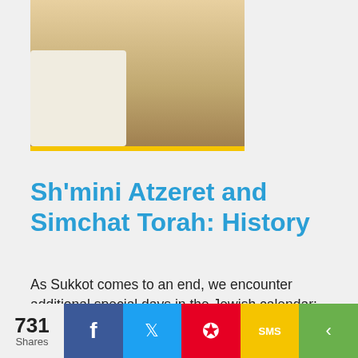[Figure (photo): Group of people at what appears to be a Jewish religious gathering or celebration, with a table covered in a white tablecloth in the foreground.]
Sh'mini Atzeret and Simchat Torah: History
As Sukkot comes to an end, we encounter additional special days in the Jewish calendar: Sh'mini Atzeret and Simchat Torah